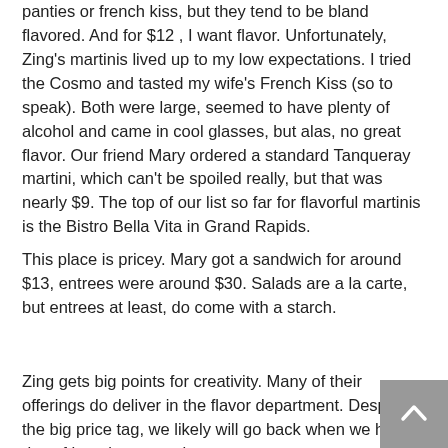panties or french kiss, but they tend to be bland flavored. And for $12 , I want flavor. Unfortunately, Zing's martinis lived up to my low expectations. I tried the Cosmo and tasted my wife's French Kiss (so to speak). Both were large, seemed to have plenty of alcohol and came in cool glasses, but alas, no great flavor. Our friend Mary ordered a standard Tanqueray martini, which can't be spoiled really, but that was nearly $9. The top of our list so far for flavorful martinis is the Bistro Bella Vita in Grand Rapids.
This place is pricey. Mary got a sandwich for around $13, entrees were around $30. Salads are a la carte, but entrees at least, do come with a starch.
Zing gets big points for creativity. Many of their offerings do deliver in the flavor department. Despite the big price tag, we likely will go back when we have a day of hanging around...